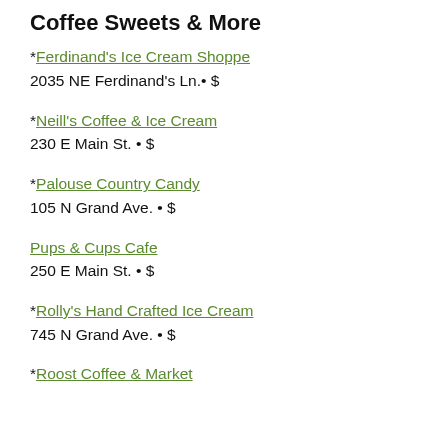Coffee Sweets & More
*Ferdinand's Ice Cream Shoppe
2035 NE Ferdinand's Ln.• $
*Neill's Coffee & Ice Cream
230 E Main St. • $
*Palouse Country Candy
105 N Grand Ave. • $
Pups & Cups Cafe
250 E Main St. • $
*Rolly's Hand Crafted Ice Cream
745 N Grand Ave. • $
*Roost Coffee & Market